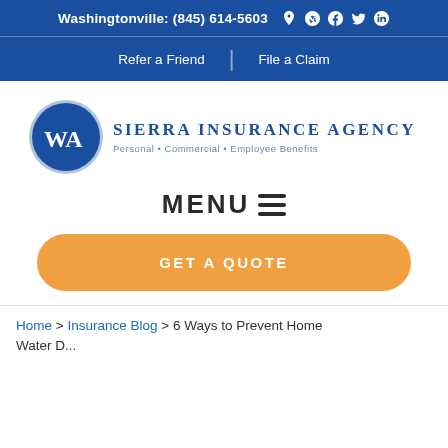Washingtonville: (845) 614-5603
Refer a Friend | File a Claim
[Figure (logo): Sierra Insurance Agency logo with WA initials in blue circle, company name and tagline Personal • Commercial • Employee Benefits]
MENU ☰
GET A QUOTE
Home > Insurance Blog > 6 Ways to Prevent Home Water D...